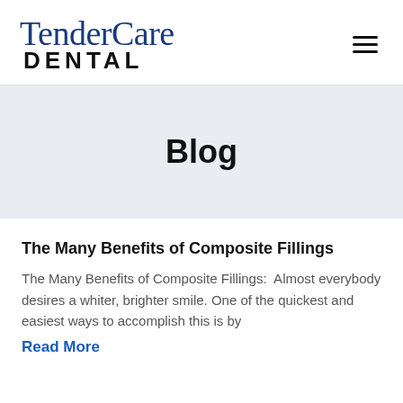TenderCare DENTAL
Blog
The Many Benefits of Composite Fillings
The Many Benefits of Composite Fillings:  Almost everybody desires a whiter, brighter smile. One of the quickest and easiest ways to accomplish this is by
Read More